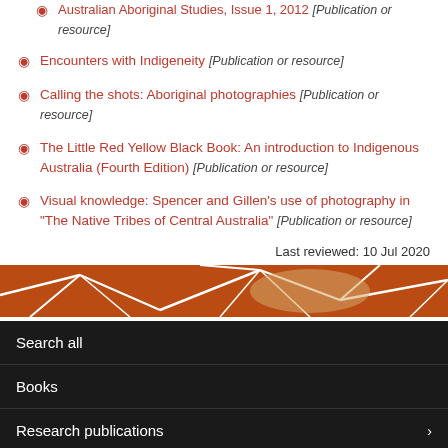Encounters with Indigeneity [Publication or resource]
Calling the shots: Aboriginal photographies [Publication or resource]
The Little Red Yellow Black Book: An introduction to Indigenous Australia (Fourth Edition) [Publication or resource]
Visual knowledge: Spencer and Gillen's use of photography in "The Native Tribes of Central Australia" [Publication or resource]
Last reviewed: 10 Jul 2020
[Figure (photo): Decorative band showing Aboriginal-style geometric patterns in orange/red and white on cracked earth texture]
Search all
Books
Research publications
Presentations
Australian Aboriginal Studies Journal